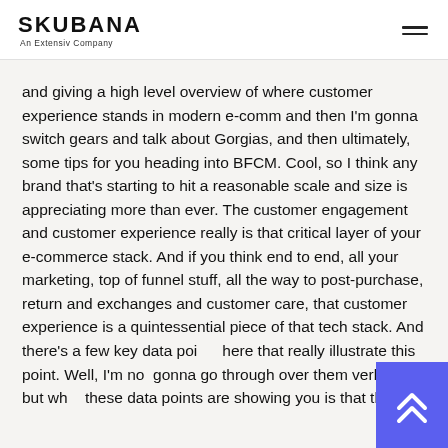SKUBANA — An Extensiv Company
and giving a high level overview of where customer experience stands in modern e-comm and then I'm gonna switch gears and talk about Gorgias, and then ultimately, some tips for you heading into BFCM. Cool, so I think any brand that's starting to hit a reasonable scale and size is appreciating more than ever. The customer engagement and customer experience really is that critical layer of your e-commerce stack. And if you think end to end, all your marketing, top of funnel stuff, all the way to post-purchase, return and exchanges and customer care, that customer experience is a quintessential piece of that tech stack. And there's a few key data points here that really illustrate this point. Well, I'm not gonna go through over them verbatim, but what these data points are showing you is that there